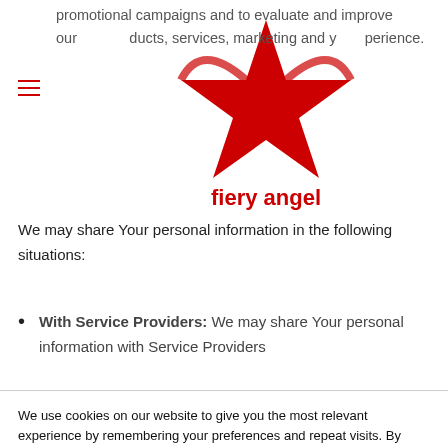promotional campaigns and to evaluate and improve our products, services, marketing and your experience.
[Figure (logo): Macy's fiery angel red star logo with text 'fiery angel' in red below]
We may share Your personal information in the following situations:
With Service Providers: We may share Your personal information with Service Providers
We use cookies on our website to give you the most relevant experience by remembering your preferences and repeat visits. By clicking "Accept All", you consent to the use of ALL the cookies. However, you may visit "Cookie Settings" to provide a controlled consent.